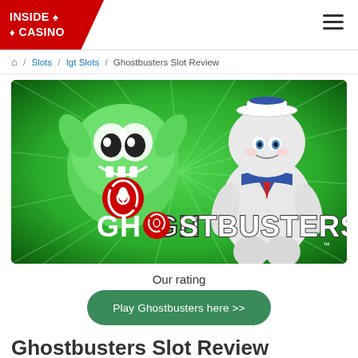INSIDE ♠ ♦ CASINO
Home / Slots / Igt Slots / Ghostbusters Slot Review
[Figure (photo): Ghostbusters slot game promotional image featuring green Slimer ghost and Stay Puft Marshmallow Man characters on a green radial burst background with GHOSTBUSTERS logo text]
Our rating
Play Ghostbusters here >>
Ghostbusters Slot Review